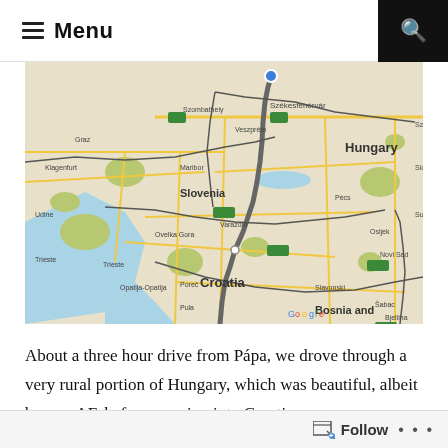Menu
[Figure (map): Google Map showing a route from Hungary (near Győr/Papa area) through Slovenia and into Croatia, with a gray route line drawn from northern Hungary south through Varaždin and into Croatia. Countries labeled: Hungary, Slovenia, Croatia, Bosnia and. Cities visible include Graz, Klagenfurt, Maribor, Varaždin, Székesfehérvár, Veszprém, Pécs, Osijek, Novi Sad, Bjeliina, Šabac, Slavonski Brod, Pula, Poreč, Rijeka. Google logo visible at bottom.]
About a three hour drive from Pápa, we drove through a very rural portion of Hungary, which was beautiful, albeit bumpy AF, before crossing into Croatia: